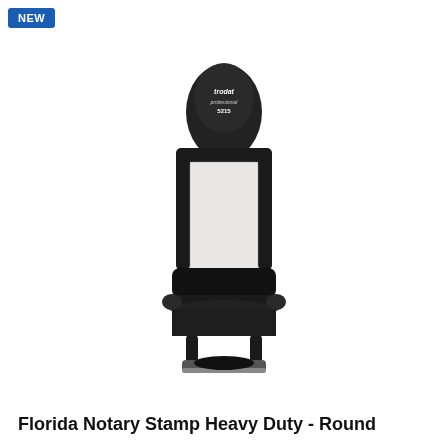[Figure (photo): Product photo of a Trodat Professional 5215 heavy duty round notary stamp in black, showing the self-inking mechanism with handle, frame, and circular stamp base on a white background.]
Florida Notary Stamp Heavy Duty - Round